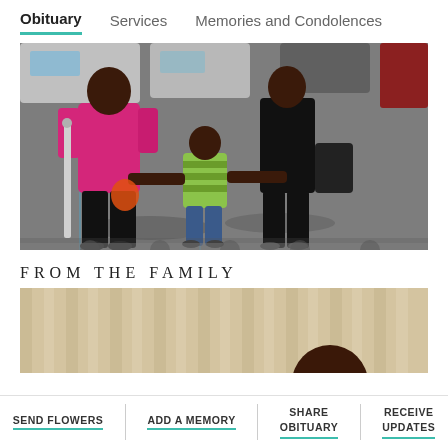Obituary | Services | Memories and Condolences
[Figure (photo): Outdoor photo of two adults and a young child in a parking lot. One adult wears a bright pink/magenta top with black pants, the other wears an all-black outfit. The child in the middle wears a green striped shirt and jeans and is holding hands with both adults. The child holds an orange item. Cars are visible in the background.]
FROM THE FAMILY
[Figure (photo): Partially visible photo showing a person's head against a beige/cream curtained background.]
SEND FLOWERS | ADD A MEMORY | SHARE OBITUARY | RECEIVE UPDATES